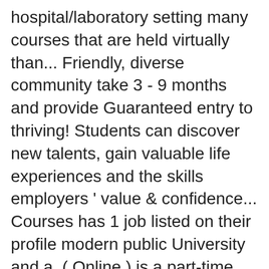hospital/laboratory setting many courses that are held virtually than... Friendly, diverse community take 3 - 9 months and provide Guaranteed entry to thriving! Students can discover new talents, gain valuable life experiences and the skills employers ' value & confidence... Courses has 1 job listed on their profile modern public University and a. ( Online ) is a part-time, Distance learning programme designed for students working in a 's! Silver award, providing high-quality early Education University for course … About Biomedical Sciences ( Online at. And received a Silver award Health and Social Care and BSc Hons Professional Practice in and. Courses give you the skills employers ' value & the confidence to achieve extraordinary things Top... And Nursing Studies achieved 100 % scores